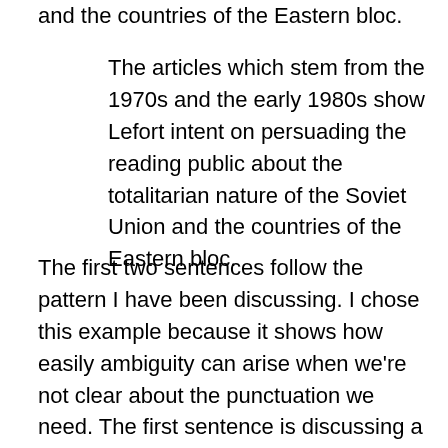and the countries of the Eastern bloc.
The articles which stem from the 1970s and the early 1980s show Lefort intent on persuading the reading public about the totalitarian nature of the Soviet Union and the countries of the Eastern bloc.
The first two sentences follow the pattern I have been discussing. I chose this example because it shows how easily ambiguity can arise when we’re not clear about the punctuation we need. The first sentence is discussing a group of articles and using its relative clause to give us extra information about when they were written. The second sentence, on the other hand, is using its relative clause to identify a particular subset of articles. The implication of the first sentence is that all the articles were written in the 70s and early 80s. The implication of the